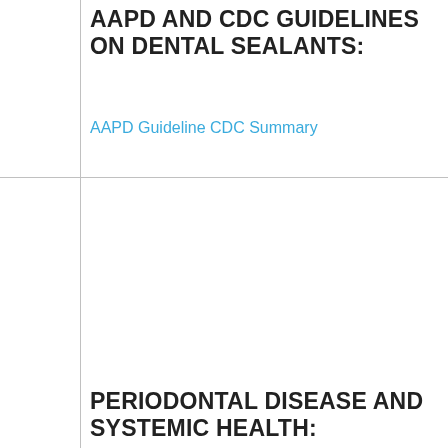AAPD AND CDC GUIDELINES ON DENTAL SEALANTS:
AAPD Guideline CDC Summary
PERIODONTAL DISEASE AND SYSTEMIC HEALTH:
American Academy of Periodontology Clinical and Scientific Papers
Editor's Consensus Report – The American Journal of Cardiology and Journal of Periodontology Editor's